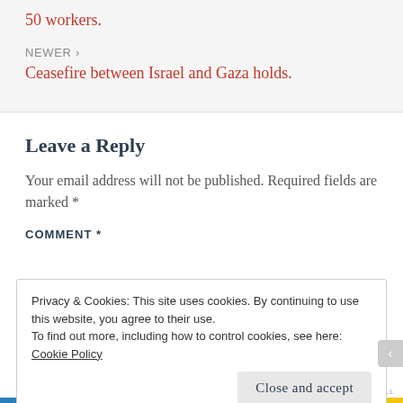50 workers.
NEWER ›
Ceasefire between Israel and Gaza holds.
Leave a Reply
Your email address will not be published. Required fields are marked *
COMMENT *
Privacy & Cookies: This site uses cookies. By continuing to use this website, you agree to their use.
To find out more, including how to control cookies, see here:
Cookie Policy
Close and accept